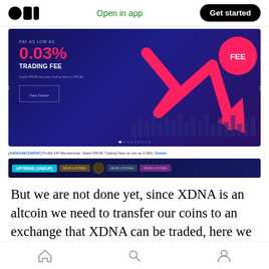Open in app | Get started
[Figure (screenshot): ProBit exchange website screenshot showing a banner advertisement with '0.03% TRADING FEE' promotion, a pink downward arrow chart graphic, and a 'FEE' circle badge. Below is an announcement bar and a second banner strip showing 'UPTREND (ONEUP)' and multiple 'NEW LISTING' tags.]
But we are not done yet, since XDNA is an altcoin we need to transfer our coins to an exchange that XDNA can be traded, here we will use ProBit as our exchange. ProBit is a popular exchange to trade altcoins and it has a large number of
Home | Search | Profile